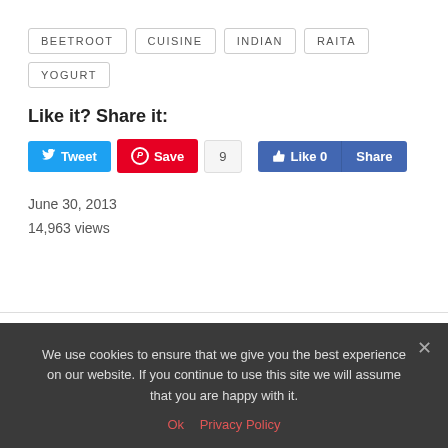BEETROOT   CUISINE   INDIAN   RAITA   YOGURT
Like it? Share it:
[Figure (screenshot): Social sharing buttons: Tweet, Save (Pinterest, count 9), Like 0 (Facebook), Share (Facebook)]
June 30, 2013
14,963 views
« PREVIOUS POST     NEXT POST »
We use cookies to ensure that we give you the best experience on our website. If you continue to use this site we will assume that you are happy with it.
Ok   Privacy Policy